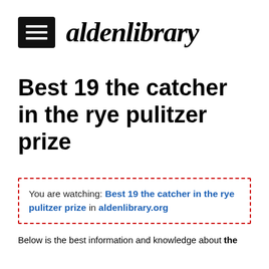[Figure (logo): Alden Library website header with hamburger menu icon and italic bold logo text 'aldenlibrary']
Best 19 the catcher in the rye pulitzer prize
You are watching: Best 19 the catcher in the rye pulitzer prize in aldenlibrary.org
Below is the best information and knowledge about the